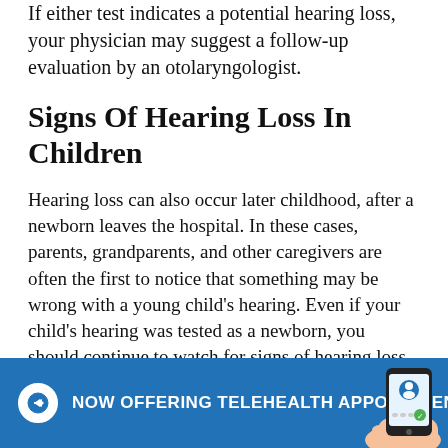If either test indicates a potential hearing loss, your physician may suggest a follow-up evaluation by an otolaryngologist.
Signs Of Hearing Loss In Children
Hearing loss can also occur later childhood, after a newborn leaves the hospital. In these cases, parents, grandparents, and other caregivers are often the first to notice that something may be wrong with a young child's hearing. Even if your child's hearing was tested as a newborn, you should continue to watch for signs of hearing loss including:
Not reacting in any way to unexpected loud noises.
[Figure (infographic): Blue banner at bottom with arrow icon and text 'NOW OFFERING TELEHEALTH APPOINTMENTS' with a hand holding a smartphone illustration on the right.]